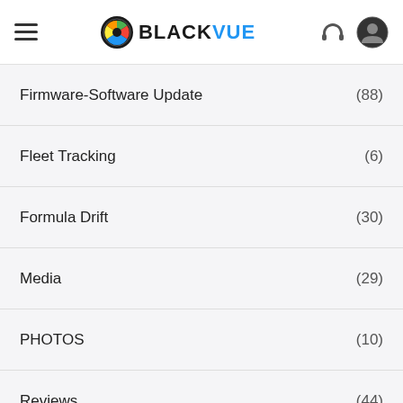BlackVue
Firmware-Software Update (88)
Fleet Tracking (6)
Formula Drift (30)
Media (29)
PHOTOS (10)
Reviews (44)
Sponsorship (32)
Tips – Info (48)
Uncategorized (5)